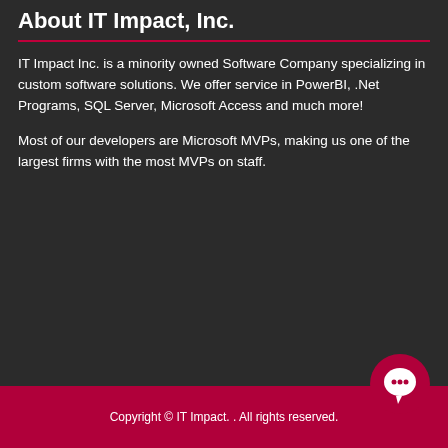About IT Impact, Inc.
IT Impact Inc. is a minority owned Software Company specializing in custom software solutions. We offer service in PowerBI, .Net Programs, SQL Server, Microsoft Access and much more!
Most of our developers are Microsoft MVPs, making us one of the largest firms with the most MVPs on staff.
Copyright © IT Impact. . All rights reserved.